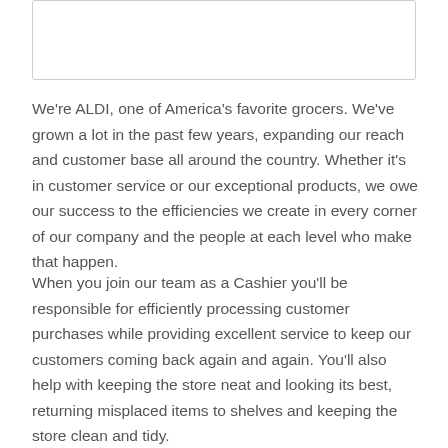[Figure (other): Empty white rectangular box outline at the top of the page]
We're ALDI, one of America's favorite grocers. We've grown a lot in the past few years, expanding our reach and customer base all around the country. Whether it's in customer service or our exceptional products, we owe our success to the efficiencies we create in every corner of our company and the people at each level who make that happen.
When you join our team as a Cashier you'll be responsible for efficiently processing customer purchases while providing excellent service to keep our customers coming back again and again. You'll also help with keeping the store neat and looking its best, returning misplaced items to shelves and keeping the store clean and tidy.